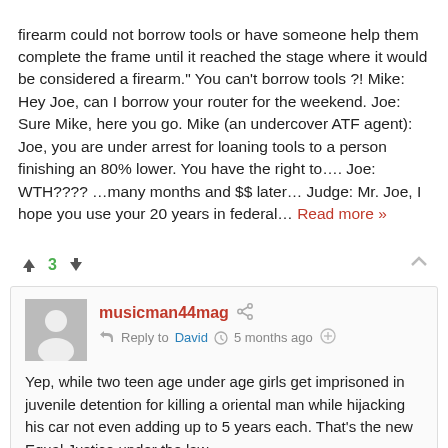firearm could not borrow tools or have someone help them complete the frame until it reached the stage where it would be considered a firearm." You can't borrow tools ?! Mike: Hey Joe, can I borrow your router for the weekend. Joe: Sure Mike, here you go. Mike (an undercover ATF agent): Joe, you are under arrest for loaning tools to a person finishing an 80% lower. You have the right to…. Joe: WTH???? …many months and $$ later… Judge: Mr. Joe, I hope you use your 20 years in federal… Read more »
3
musicman44mag Reply to David 5 months ago
Yep, while two teen age under age girls get imprisoned in juvenile detention for killing a oriental man while hijacking his car not even adding up to 5 years each. That's the new Equal Justice under the law.